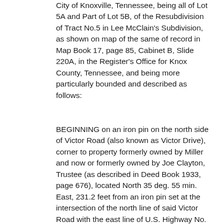City of Knoxville, Tennessee, being all of Lot 5A and Part of Lot 5B, of the Resubdivision of Tract No.5 in Lee McClain's Subdivision, as shown on map of the same of record in Map Book 17, page 85, Cabinet B, Slide 220A, in the Register's Office for Knox County, Tennessee, and being more particularly bounded and described as follows:
BEGINNING on an iron pin on the north side of Victor Road (also known as Victor Drive), corner to property formerly owned by Miller and now or formerly owned by Joe Clayton, Trustee (as described in Deed Book 1933, page 676), located North 35 deg. 55 min. East, 231.2 feet from an iron pin set at the intersection of the north line of said Victor Road with the east line of U.S. Highway No. 25-W (Clinton Highway); thence with said Clayton, North 35 deg. 41 min. West, 335.28 feet to an angle iron